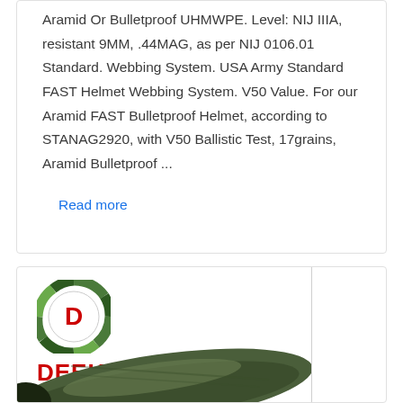Aramid Or Bulletproof UHMWPE. Level: NIJ IIIA, resistant 9MM, .44MAG, as per NIJ 0106.01 Standard. Webbing System. USA Army Standard FAST Helmet Webbing System. V50 Value. For our Aramid FAST Bulletproof Helmet, according to STANAG2920, with V50 Ballistic Test, 17grains, Aramid Bulletproof ...
Read more
[Figure (logo): DEEKON brand logo with circular camouflage-patterned emblem featuring a red D letter in center, and bold red DEEKON text below]
[Figure (photo): Partial view of a military/tactical sleeping bag or equipment bag in olive green/dark color]